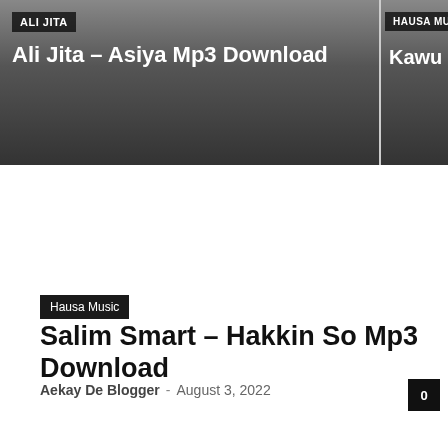[Figure (screenshot): Top banner with two article cards. Left card: tag 'ALI JITA', title 'Ali Jita – Asiya Mp3 Download' on dark gradient background. Right card (partial): tag 'HAUSA MUSIC', title 'Kawu Dan...' on dark gradient background.]
Hausa Music
Salim Smart – Hakkin So Mp3 Download
Aekay De Blogger - August 3, 2022
0